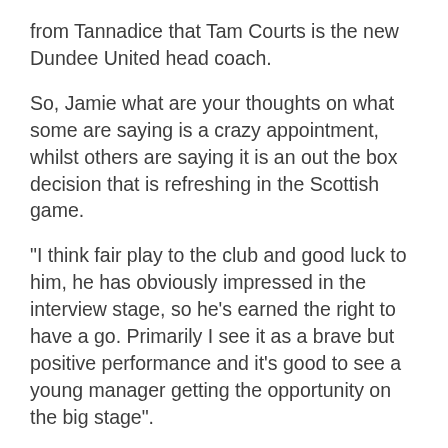from Tannadice that Tam Courts is the new Dundee United head coach.
So, Jamie what are your thoughts on what some are saying is a crazy appointment, whilst others are saying it is an out the box decision that is refreshing in the Scottish game.
“I think fair play to the club and good luck to him, he has obviously impressed in the interview stage, so he’s earned the right to have a go. Primarily I see it as a brave but positive performance and it’s good to see a young manager getting the opportunity on the big stage”.
I agree, I have met Tam on a few occasions over the years, particularly when he was at Kelty Hearts, he came across as someone who believed in his own abilities but also those of his players and encouraged